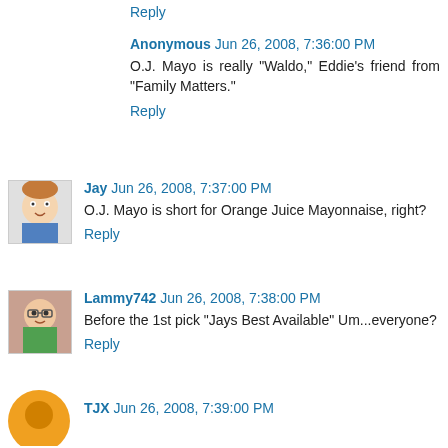Reply
Anonymous  Jun 26, 2008, 7:36:00 PM
O.J. Mayo is really "Waldo," Eddie's friend from "Family Matters."
Reply
Jay  Jun 26, 2008, 7:37:00 PM
O.J. Mayo is short for Orange Juice Mayonnaise, right?
Reply
Lammy742  Jun 26, 2008, 7:38:00 PM
Before the 1st pick "Jays Best Available" Um...everyone?
Reply
TJX  Jun 26, 2008, 7:39:00 PM